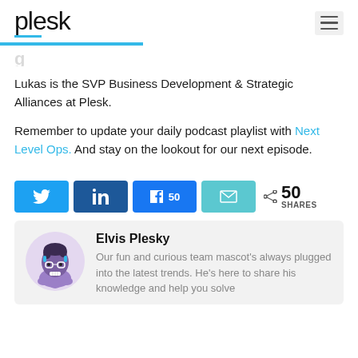plesk
Lukas is the SVP Business Development & Strategic Alliances at Plesk.
Remember to update your daily podcast playlist with Next Level Ops. And stay on the lookout for our next episode.
[Figure (infographic): Social share buttons: Twitter, LinkedIn, Facebook (50), Email, and share count showing 50 SHARES]
[Figure (illustration): Elvis Plesky mascot avatar - cartoon character with glasses, headphones, purple octopus-like figure]
Elvis Plesky
Our fun and curious team mascot's always plugged into the latest trends. He's here to share his knowledge and help you solve...